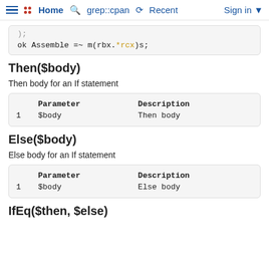Home  grep::cpan  Recent  Sign in
);
ok Assemble =~ m(rbx.*rcx)s;
Then($body)
Then body for an If statement
|  | Parameter | Description |
| --- | --- | --- |
| 1 | $body | Then body |
Else($body)
Else body for an If statement
|  | Parameter | Description |
| --- | --- | --- |
| 1 | $body | Else body |
IfEq($then, $else)